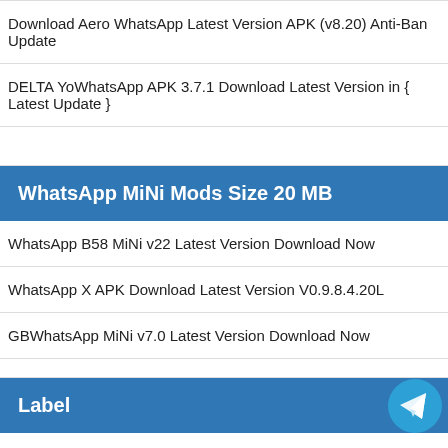Download Aero WhatsApp Latest Version APK (v8.20) Anti-Ban Update
DELTA YoWhatsApp APK 3.7.1 Download Latest Version in { Latest Update }
WhatsApp MiNi Mods Size 20 MB
WhatsApp B58 MiNi v22 Latest Version Download Now
WhatsApp X APK Download Latest Version V0.9.8.4.20L
GBWhatsApp MiNi v7.0 Latest Version Download Now
Label
AB WhatsApp
Abo2Sadam WhatsApp Mod